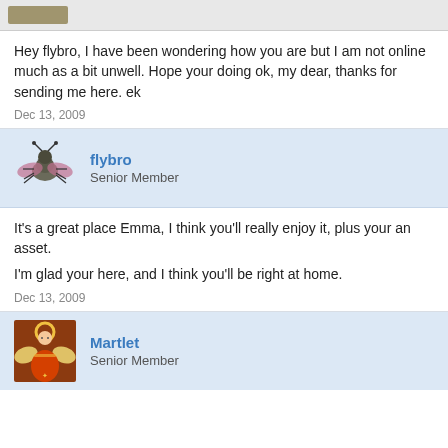Hey flybro, I have been wondering how you are but I am not online much as a bit unwell. Hope your doing ok, my dear, thanks for sending me here. ek
Dec 13, 2009
flybro
Senior Member
It's a great place Emma, I think you'll really enjoy it, plus your an asset.

I'm glad your here, and I think you'll be right at home.
Dec 13, 2009
Martlet
Senior Member